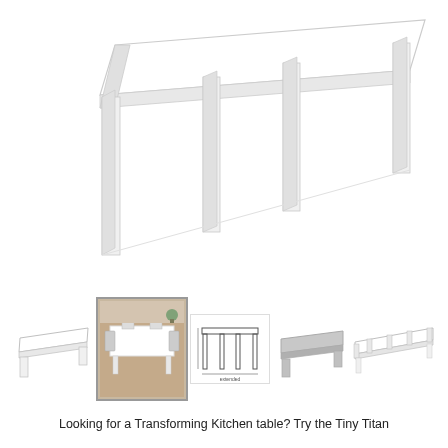[Figure (illustration): A large white extendable/expandable dining table shown fully extended with multiple legs visible, in a clean white product photo style.]
[Figure (illustration): Thumbnail 1: White extendable table shown at a smaller size, side view.]
[Figure (photo): Thumbnail 2: Photo of white table with chairs around it in a room setting.]
[Figure (illustration): Thumbnail 3: Technical schematic/line drawing of the extendable table.]
[Figure (illustration): Thumbnail 4: Gray/silver version of the table, side view.]
[Figure (illustration): Thumbnail 5: White table fully extended with chairs, overhead angle.]
Looking for a Transforming Kitchen table? Try the Tiny Titan